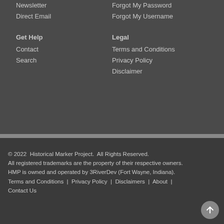Newsletter
Direct Email
Forgot My Password
Forgot My Username
Get Help
Contact
Search
Legal
Terms and Conditions
Privacy Policy
Disclaimer
© 2022 Historical Marker Project. All Rights Reserved. All registered trademarks are the property of their respective owners. HMP is owned and operated by 3RiverDev (Fort Wayne, Indiana). Terms and Conditions | Privacy Policy | Disclaimers | About | Contact Us